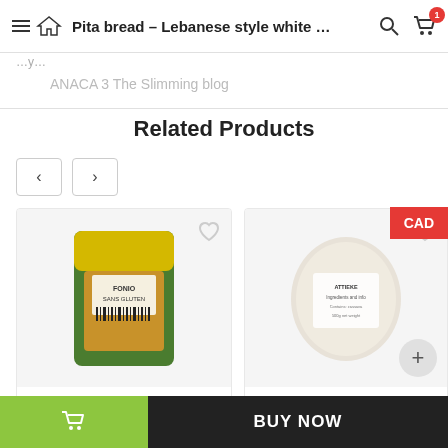Pita bread – Lebanese style white …
ANACA 3 The Slimming blog
Related Products
[Figure (photo): Product image of ALL-NATURAL FONIO GRAINS in a gold/green stand-up pouch with label]
ALL-NATURAL FONIO GRAINS
[Figure (photo): Product image of ATTIEKE 500G in a white plastic bag with label]
ATTIEKE 500G
BUY NOW